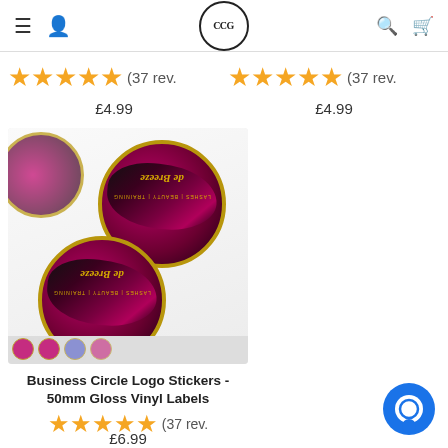CCG logo header with navigation icons
★★★★★ (37 rev.   ★★★★★ (37 rev.
£4.99   £4.99
[Figure (photo): Sheet of circular business logo stickers with pink/magenta brush stroke design and gold text reading 'de Breeze' on dark background with gold oval border, shown printed on white glossy vinyl sheet]
Business Circle Logo Stickers - 50mm Gloss Vinyl Labels
★★★★★ (37 rev.
£6.99